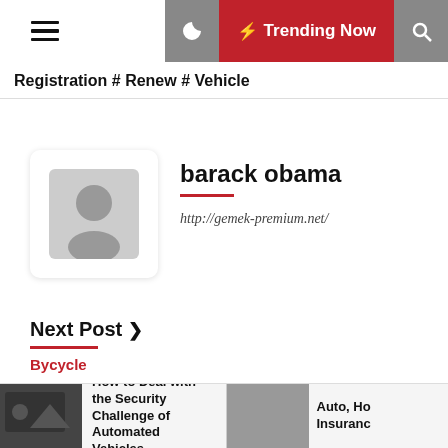Registration # Renew # Vehicle
barack obama
http://gemek-premium.net/
Next Post >
Bycycle
The Beginner's Guide to Picking the Perfect Bicycle
How to Deal with the Security Challenge of Automated Vehicles
Auto, Ho Insurance